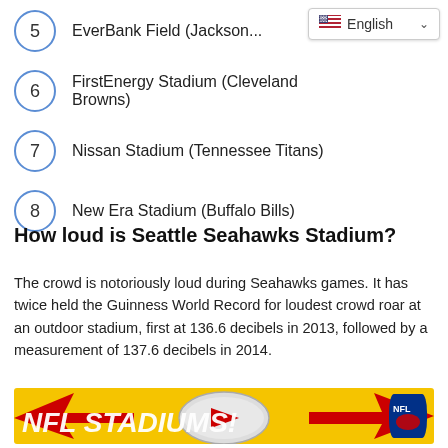5  EverBank Field (Jackson...
6  FirstEnergy Stadium (Cleveland Browns)
7  Nissan Stadium (Tennessee Titans)
8  New Era Stadium (Buffalo Bills)
How loud is Seattle Seahawks Stadium?
The crowd is notoriously loud during Seahawks games. It has twice held the Guinness World Record for loudest crowd roar at an outdoor stadium, first at 136.6 decibels in 2013, followed by a measurement of 137.6 decibels in 2014.
[Figure (infographic): Yellow banner with 'NFL STADIUMS!' text in white bold italic, with NFL shield logo and red arrows pointing to a football/YouTube play button graphic.]